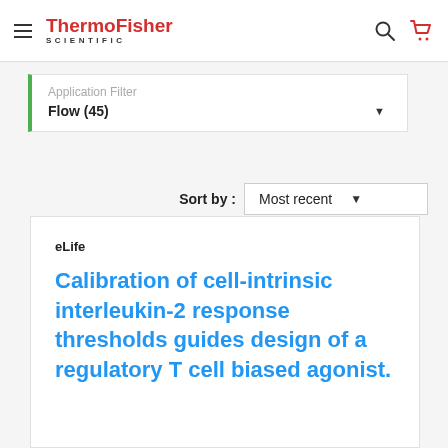ThermoFisher SCIENTIFIC
Application Filter
Flow (45)
Sort by : Most recent
eLife
Calibration of cell-intrinsic interleukin-2 response thresholds guides design of a regulatory T cell biased agonist.